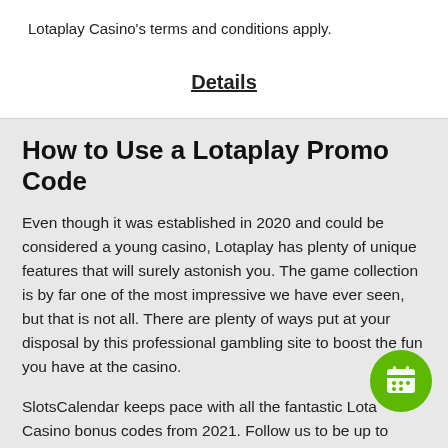Lotaplay Casino's terms and conditions apply.
Details
How to Use a Lotaplay Promo Code
Even though it was established in 2020 and could be considered a young casino, Lotaplay has plenty of unique features that will surely astonish you. The game collection is by far one of the most impressive we have ever seen, but that is not all. There are plenty of ways put at your disposal by this professional gambling site to boost the fun you have at the casino.
SlotsCalendar keeps pace with all the fantastic Lotaplay Casino bonus codes from 2021. Follow us to be up to